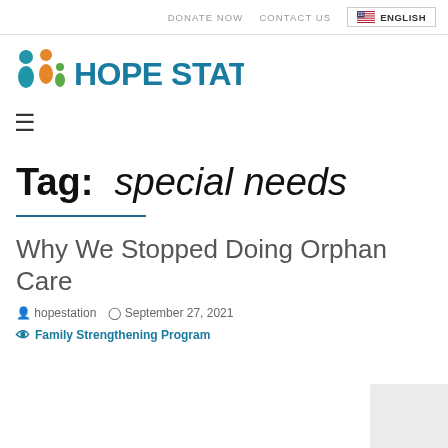DONATE NOW   CONTACT US   ENGLISH
[Figure (logo): Hope Station logo with colorful people icons and teal HOPE STATION text]
≡ (hamburger menu icon)
Tag: special needs
Why We Stopped Doing Orphan Care
hopestation   September 27, 2021
Family Strengthening Program